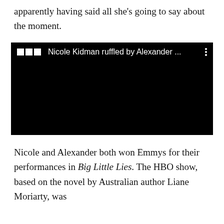apparently having said all she's going to say about the moment.
[Figure (screenshot): Embedded BBC video player with black background, showing title 'Nicole Kidman ruffled by Alexander ...' with BBC logo squares and a three-dot menu icon.]
Nicole and Alexander both won Emmys for their performances in Big Little Lies. The HBO show, based on the novel by Australian author Liane Moriarty, was